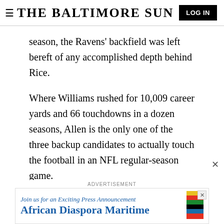≡ THE BALTIMORE SUN | LOG IN
season, the Ravens' backfield was left bereft of any accomplished depth behind Rice.
Where Williams rushed for 10,009 career yards and 66 touchdowns in a dozen seasons, Allen is the only one of the three backup candidates to actually touch the football in an NFL regular-season game.
However, the former seventh-round draft pick from Georgia Tech rushed for only eight yards on three
[Figure (other): Advertisement banner for African Diaspora Maritime with colorful flag stripes and text 'Join us for an Exciting Press Announcement African Diaspora Maritime']